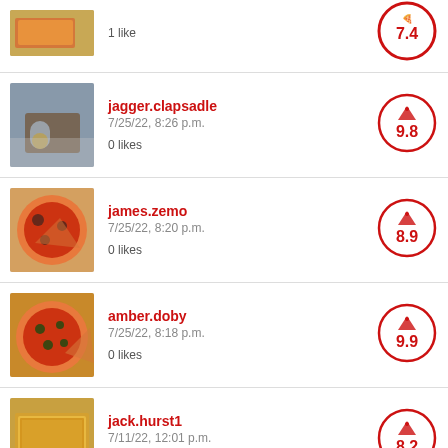[Figure (photo): Partial pizza slice photo at top]
1 like
[Figure (other): Score circle: 7.4]
[Figure (photo): Photo of pizza and drink glass]
jagger.clapsadle
7/25/22, 8:26 p.m.
0 likes
[Figure (other): Score circle: 9.8]
[Figure (photo): Photo of pizza slice with toppings]
james.zemo
7/25/22, 8:20 p.m.
0 likes
[Figure (other): Score circle: 8.9]
[Figure (photo): Photo of whole pizza with toppings]
amber.doby
7/25/22, 8:18 p.m.
0 likes
[Figure (other): Score circle: 9.9]
[Figure (photo): Photo of cheese pizza]
jack.hurst1
7/11/22, 12:01 p.m.
1 like
[Figure (other): Score circle: 8.2]